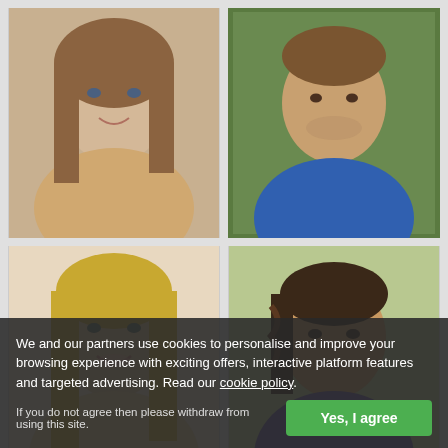[Figure (photo): Portrait photo of a young woman with long brown hair, smiling, top-left grid cell]
[Figure (photo): Portrait photo of a young man in blue sports shirt near a fence, top-right grid cell]
[Figure (photo): Portrait photo of a blonde woman with long hair, smiling, middle-left grid cell]
[Figure (photo): Portrait photo of a young man with dark braided hair, smiling, middle-right grid cell]
[Figure (photo): Partial portrait photo of a person, bottom-left grid cell, partially obscured by cookie banner]
[Figure (photo): Partial portrait photo of a person, bottom-right grid cell, partially obscured by cookie banner]
We and our partners use cookies to personalise and improve your browsing experience with exciting offers, interactive platform features and targeted advertising. Read our cookie policy.
If you do not agree then please withdraw from using this site.
Yes, I agree